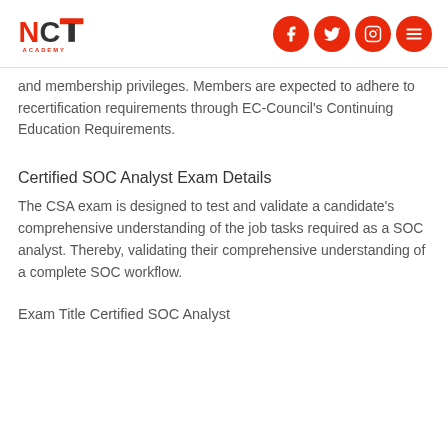NCT Academy [logo] [social icons: Facebook, Twitter, Instagram, Menu]
and membership privileges. Members are expected to adhere to recertification requirements through EC-Council's Continuing Education Requirements.
Certified SOC Analyst Exam Details
The CSA exam is designed to test and validate a candidate's comprehensive understanding of the job tasks required as a SOC analyst. Thereby, validating their comprehensive understanding of a complete SOC workflow.
Exam Title Certified SOC Analyst